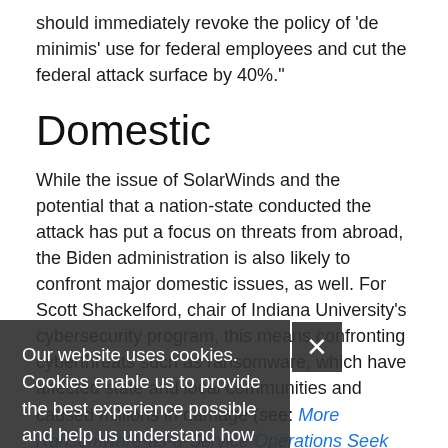should immediately revoke the policy of 'de minimis' use for federal employees and cut the federal attack surface by 40%."
Domestic
While the issue of SolarWinds and the potential that a nation-state conducted the attack has put a focus on threats from abroad, the Biden administration is also likely to confront major domestic issues, as well. For Scott Shackelford, chair of Indiana University's cybersecurity program, this means confronting cyberthreats such as ransomware, which have affected state and local communities and caused millions in damage (see: More Ransomware-as-a-Service Operations Seek Affiliates), govinfosecurity.com,
"Given the pandemic and the fact that we are living an increasing percentage of our personal and professional...
Our website uses cookies. Cookies enable us to provide the best experience possible and help us understand how visitors use our website. By browsing govinfosecurity.com, you agree to our use of cookies.